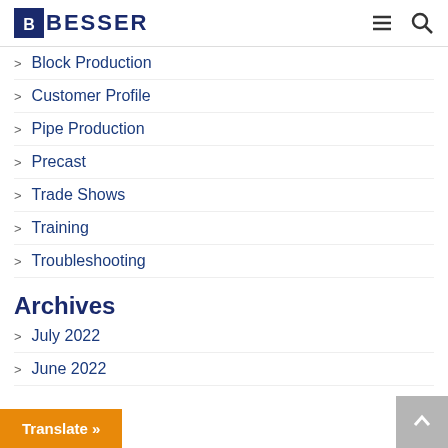BESSER
Block Production
Customer Profile
Pipe Production
Precast
Trade Shows
Training
Troubleshooting
Archives
July 2022
June 2022